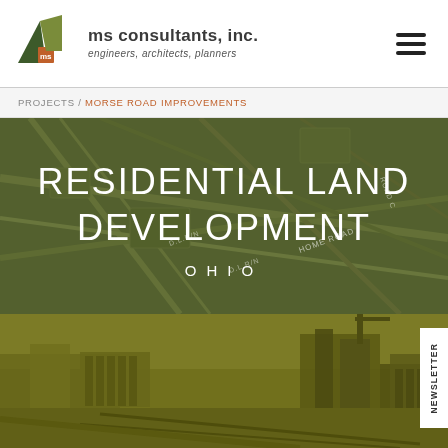[Figure (logo): MS Consultants Inc logo with geometric mountain/triangle shapes in green, orange, and dark green]
ms consultants, inc. engineers, architects, planners
PROJECTS / MORSE ROAD IMPROVEMENTS
RESIDENTIAL LAND DEVELOPMENT OHIO
[Figure (photo): Aerial city view with olive/yellow-green color overlay showing urban buildings, streets, and infrastructure]
NEWSLETTER